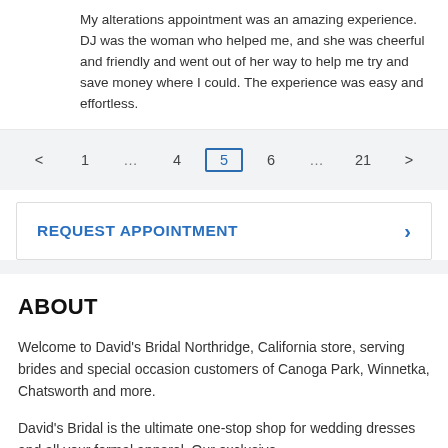My alterations appointment was an amazing experience. DJ was the woman who helped me, and she was cheerful and friendly and went out of her way to help me try and save money where I could. The experience was easy and effortless.
< 1 … 4 5 6 … 21 >
REQUEST APPOINTMENT
ABOUT
Welcome to David's Bridal Northridge, California store, serving brides and special occasion customers of Canoga Park, Winnetka, Chatsworth and more.
David's Bridal is the ultimate one-stop shop for wedding dresses and all your formal apparel. Our exclusive